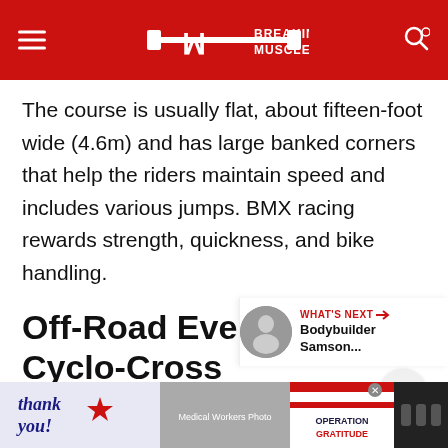BREAKING MUSCLE
The course is usually flat, about fifteen-foot wide (4.6m) and has large banked corners that help the riders maintain speed and includes various jumps. BMX racing rewards strength, quickness, and bike handling.
Off-Road Events: Cyclo-Cross
Many short laps on a variety of challenging surfaces.
[Figure (infographic): WHAT'S NEXT banner with image of bodybuilder and text: Bodybuilder Samson...]
[Figure (infographic): Advertisement banner: Operation Gratitude - Thank you - photo of medical workers]